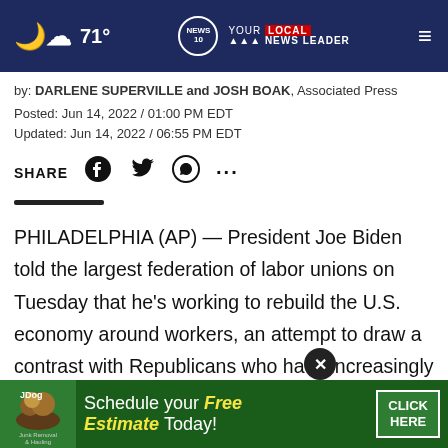71° NEWS 10 YOUR LOCAL NEWS LEADER
by: DARLENE SUPERVILLE and JOSH BOAK, Associated Press
Posted: Jun 14, 2022 / 01:00 PM EDT
Updated: Jun 14, 2022 / 06:55 PM EDT
SHARE
PHILADELPHIA (AP) — President Joe Biden told the largest federation of labor unions on Tuesday that he's working to rebuild the U.S. economy around workers, an attempt to draw a contrast with Republicans who have increasingly attracted blue-collar
[Figure (screenshot): JDog advertisement banner: Schedule your Free Estimate Today! CLICK HERE]